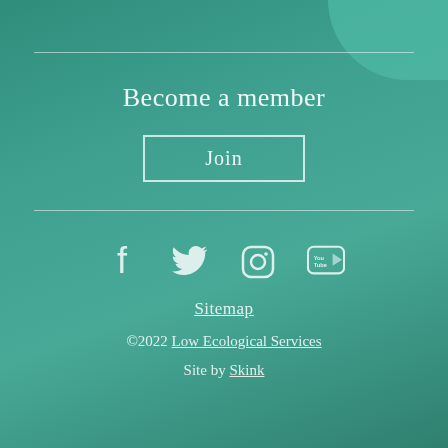Become a member
Join
[Figure (infographic): Social media icons: Facebook, Twitter, Instagram, YouTube]
Sitemap
©2022 Low Ecological Services
Site by Skink